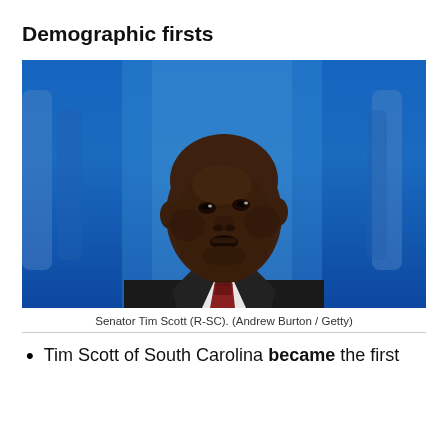Demographic firsts
[Figure (photo): Senator Tim Scott (R-SC) looking upward against a blue background, wearing a dark suit and patterned tie.]
Senator Tim Scott (R-SC). (Andrew Burton / Getty)
Tim Scott of South Carolina became the first